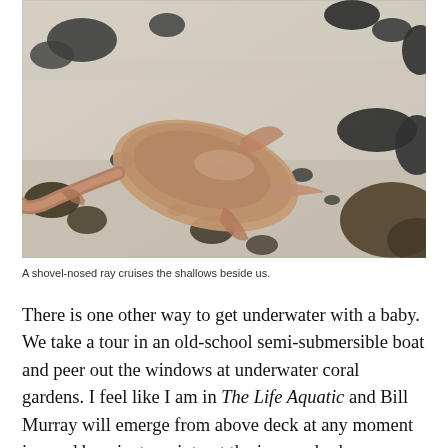[Figure (photo): A shovel-nosed ray lying on a sandy beach with dark rocks scattered around. The ray is brownish-pink in color, viewed from above on wet sand.]
A shovel-nosed ray cruises the shallows beside us.
There is one other way to get underwater with a baby. We take a tour in an old-school semi-submersible boat and peer out the windows at underwater coral gardens. I feel like I am in The Life Aquatic and Bill Murray will emerge from above deck at any moment in a red beanie, to point out the jaguar shark. Impervious to the turtles and rays that glide alongside